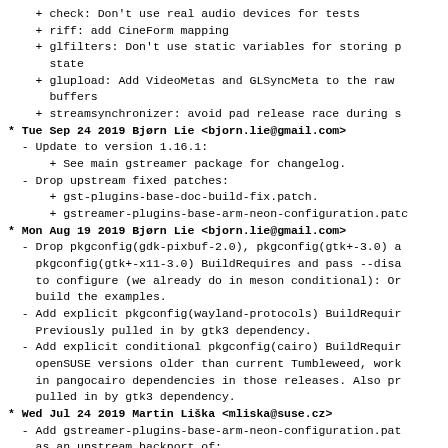+ check: Don't use real audio devices for tests
+ riff: add CineForm mapping
+ glfilters: Don't use static variables for storing p
      state
+ glupload: Add VideoMetas and GLSyncMeta to the raw
      buffers
+ streamsynchronizer: avoid pad release race during s
* Tue Sep 24 2019 Bjørn Lie <bjorn.lie@gmail.com>
- Update to version 1.16.1:
      + See main gstreamer package for changelog.
- Drop upstream fixed patches:
      + gst-plugins-base-doc-build-fix.patch.
      + gstreamer-plugins-base-arm-neon-configuration.patch
* Mon Aug 19 2019 Bjørn Lie <bjorn.lie@gmail.com>
- Drop pkgconfig(gdk-pixbuf-2.0), pkgconfig(gtk+-3.0) a
    pkgconfig(gtk+-x11-3.0) BuildRequires and pass --disa
    to configure (we already do in meson conditional): Or
    build the examples.
- Add explicit pkgconfig(wayland-protocols) BuildRequir
    Previously pulled in by gtk3 dependency.
- Add explicit conditional pkgconfig(cairo) BuildRequir
    openSUSE versions older than current Tumbleweed, work
    in pangocairo dependencies in those releases. Also pr
    pulled in by gtk3 dependency.
* Wed Jul 24 2019 Martin Liška <mliska@suse.cz>
- Add gstreamer-plugins-base-arm-neon-configuration.pat
    as an upstream backport of:
    https://gitlab.freedesktop.org/gstreamer/gst-plugins-
- Use %make_build.
* Tue Jun 18 2019 mgorse@suse.com